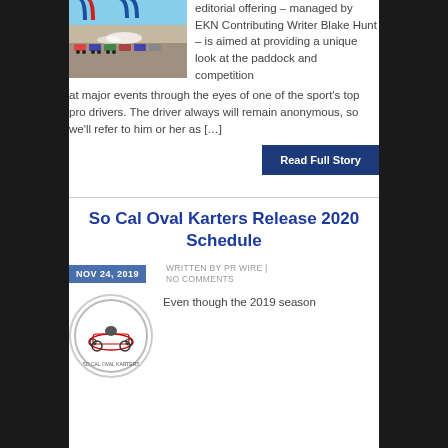[Figure (photo): Go-kart race photo showing karts on a track with blue inflatable arch structures and smoke]
editorial offering – managed by EKN Contributing Writer Blake Hunt – is aimed at providing a unique look at the paddock and competition at major events through the eyes of one of the sport's top pro drivers. The driver always will remain anonymous, so we'll refer to him or her as […]
Read Full Story
So Cal Oval Karters Release 2020 Schedule
NOV 24, 2019
WRITTEN BY PR WIRE | NO COMMENTS
[Figure (logo): So Cal Oval Karters circular logo]
Even though the 2019 season